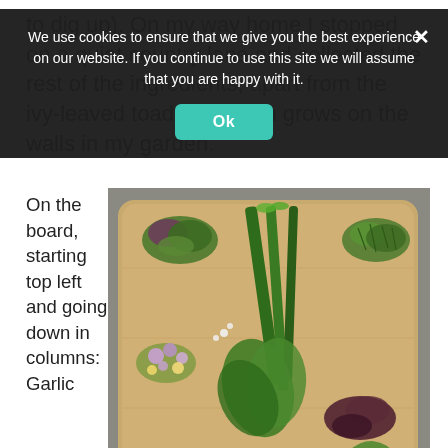to dig up). On my way home I stopped on a quiet country lane and collected the rest of the ingredients, apart from the ivy-leaved toadflax, which grows on the walls in my garden.
On the board, starting top left and going down in columns: Garlic
[Figure (photo): A wooden cutting board photographed from above, covered with various foraged wild herbs and plants arranged in groups, including leafy greens, flowers, long green stalks, and small herb clusters.]
We use cookies to ensure that we give you the best experience on our website. If you continue to use this site we will assume that you are happy with it.